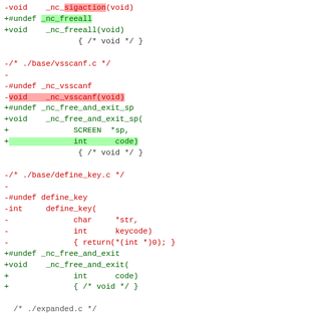Code diff showing changes to ncurses source files including vsscanf.c, define_key.c, and expanded.c
[Figure (other): Source code diff showing removed and added lines in C header files, with red highlighting for removed lines and green highlighting for added lines]